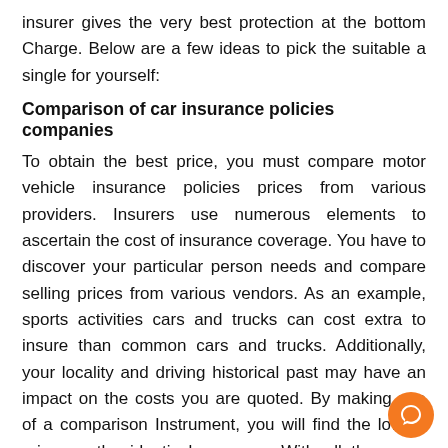insurer gives the very best protection at the bottom Charge. Below are a few ideas to pick the suitable a single for yourself:
Comparison of car insurance policies companies
To obtain the best price, you must compare motor vehicle insurance policies prices from various providers. Insurers use numerous elements to ascertain the cost of insurance coverage. You have to discover your particular person needs and compare selling prices from various vendors. As an example, sports activities cars and trucks can cost extra to insure than common cars and trucks. Additionally, your locality and driving historical past may have an impact on the costs you are quoted. By making use of a comparison Instrument, you will find the lowest price on the identical coverage With all the same deductibles.
Car Insurance coverage Quote
Insurance plan rates may vary drastically, so it is actually